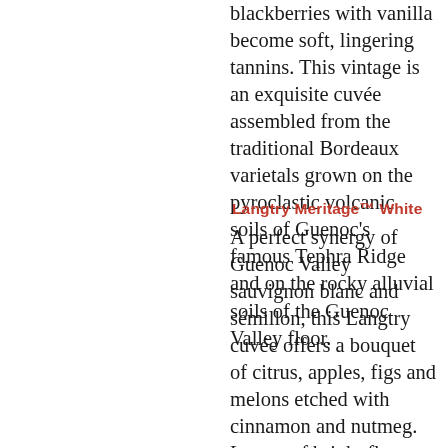blackberries with vanilla become soft, lingering tannins. This vintage is an exquisite cuvée assembled from the traditional Bordeaux varietals grown on the pyroclastic volcanic soils of Guenoc's famous Tephra Ridge and on the rocky alluvial soils of the Guenoc Valley floor.
Langtry Meritage™ White
A perfect synergy of Guenoc Valley sauvignon blanc and sémillon, this Langtry cuvée offers a bouquet of citrus, apples, figs and melons etched with cinnamon and nutmeg. Layers of bright flavors are tempered with the creaminess of barrel fermentation in French Allier oak. Langtry's remarkable elegance evokes the best of Guenoc's John H. Magoon Reserve Sauvignon Blanc Vineyard and sémillon in the heart of Guenoc Valley.